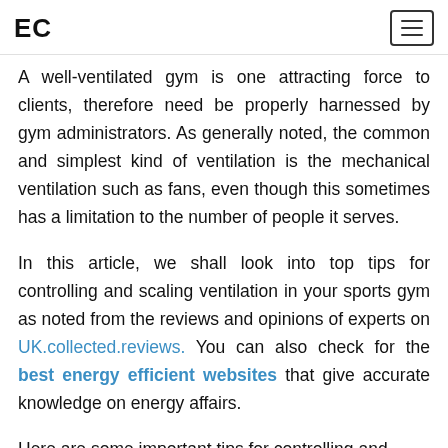EC
A well-ventilated gym is one attracting force to clients, therefore need be properly harnessed by gym administrators. As generally noted, the common and simplest kind of ventilation is the mechanical ventilation such as fans, even though this sometimes has a limitation to the number of people it serves.
In this article, we shall look into top tips for controlling and scaling ventilation in your sports gym as noted from the reviews and opinions of experts on UK.collected.reviews. You can also check for the best energy efficient websites that give accurate knowledge on energy affairs.
Here are some important tips for controlling and scaling ventilation in your sports gym: